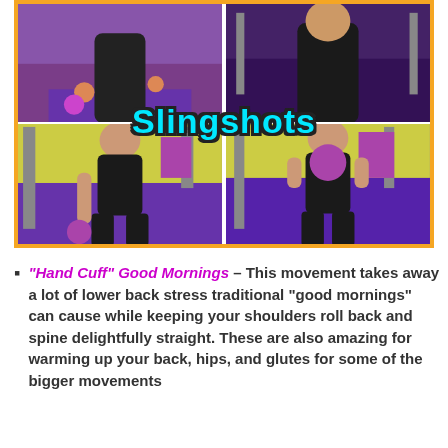[Figure (photo): Four-panel gym photo collage with orange border showing a woman performing 'Slingshots' kettlebell exercise at Anytime Fitness. Top two panels show close-up starting positions, bottom two show full body views of the exercise. Title 'Slingshots' overlaid in cyan/teal text with dark outline.]
"Hand Cuff" Good Mornings – This movement takes away a lot of lower back stress traditional "good mornings" can cause while keeping your shoulders roll back and spine delightfully straight. These are also amazing for warming up your back, hips, and glutes for some of the bigger movements